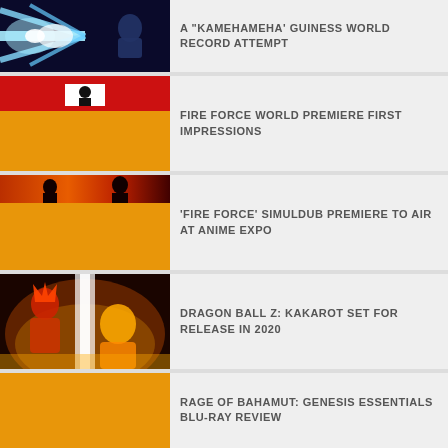A “KAMEHAMEHA’ GUINESS WORLD RECORD ATTEMPT
FIRE FORCE WORLD PREMIERE FIRST IMPRESSIONS
‘FIRE FORCE’ SIMULDUB PREMIERE TO AIR AT ANIME EXPO
DRAGON BALL Z: KAKAROT SET FOR RELEASE IN 2020
RAGE OF BAHAMUT: GENESIS ESSENTIALS BLU-RAY REVIEW